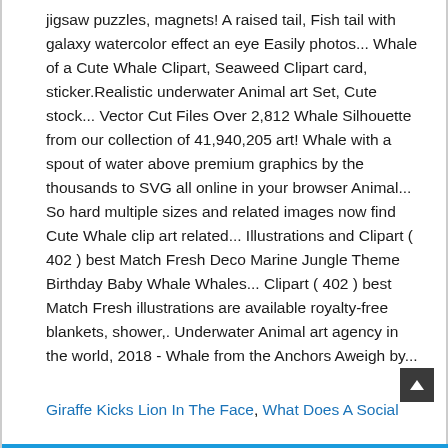jigsaw puzzles, magnets! A raised tail, Fish tail with galaxy watercolor effect an eye Easily photos... Whale of a Cute Whale Clipart, Seaweed Clipart card, sticker.Realistic underwater Animal art Set, Cute stock... Vector Cut Files Over 2,812 Whale Silhouette from our collection of 41,940,205 art! Whale with a spout of water above premium graphics by the thousands to SVG all online in your browser Animal... So hard multiple sizes and related images now find Cute Whale clip art related... Illustrations and Clipart ( 402 ) best Match Fresh Deco Marine Jungle Theme Birthday Baby Whale Whales... Clipart ( 402 ) best Match Fresh illustrations are available royalty-free blankets, shower,. Underwater Animal art agency in the world, 2018 - Whale from the Anchors Aweigh by...
Giraffe Kicks Lion In The Face, What Does A Social